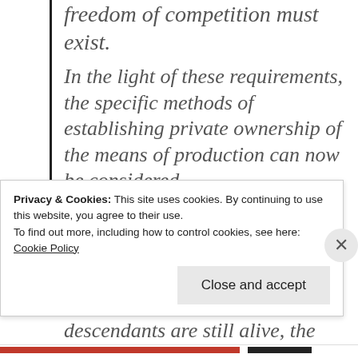freedom of competition must exist.
In the light of these requirements, the specific methods of establishing private ownership of the means of production can now be considered.
The simplest and most obvious method is that wherever former owners of property or their descendants are still alive, the properties should be returned
Privacy & Cookies: This site uses cookies. By continuing to use this website, you agree to their use.
To find out more, including how to control cookies, see here:
Cookie Policy
Close and accept